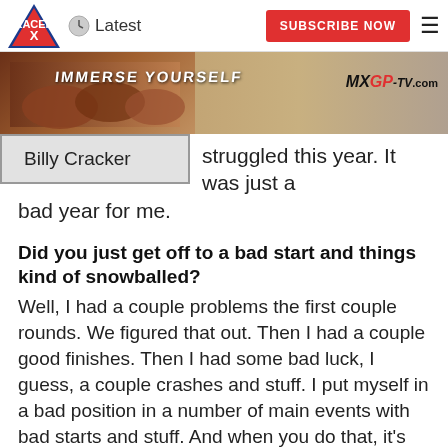Latest | SUBSCRIBE NOW
[Figure (photo): MXGP-TV.com banner advertisement with motocross riders and text 'IMMERSE YOURSELF']
| Billy Cracker | struggled this year. It was just a bad year for me. |
Did you just get off to a bad start and things kind of snowballed?
Well, I had a couple problems the first couple rounds. We figured that out. Then I had a couple good finishes. Then I had some bad luck, I guess, a couple crashes and stuff. I put myself in a bad position in a number of main events with bad starts and stuff. And when you do that, it's hard to come back up.
When things don't go to plan, do you find yourself